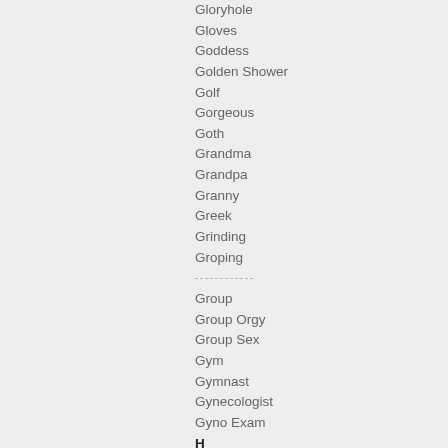Gloryhole
Gloves
Goddess
Golden Shower
Golf
Gorgeous
Goth
Grandma
Grandpa
Granny
Greek
Grinding
Groping
Group
Group Orgy
Group Sex
Gym
Gymnast
Gynecologist
Gyno Exam
H
Hairless
Hairy